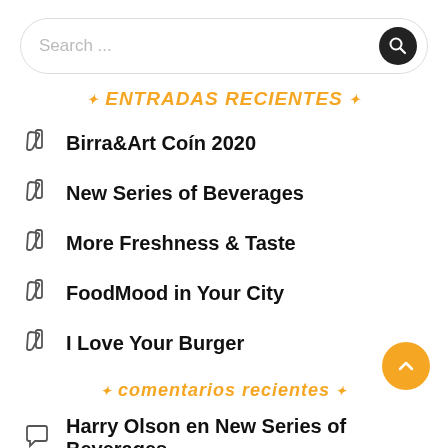[Figure (screenshot): Search bar with rounded border and magnifying glass icon on dark circle background]
✦ ENTRADAS RECIENTES ✦
Birra&Art Coín 2020
New Series of Beverages
More Freshness & Taste
FoodMood in Your City
I Love Your Burger
✦ comentarios recientes ✦
Harry Olson en New Series of Beverages